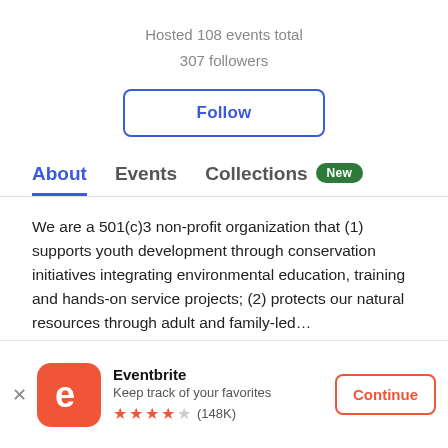Hosted 108 events total
307 followers
Follow
About   Events   Collections New
We are a 501(c)3 non-profit organization that (1) supports youth development through conservation initiatives integrating environmental education, training and hands-on service projects; (2) protects our natural resources through adult and family-led…
Show more
[Figure (screenshot): Eventbrite app banner at bottom: logo, title 'Eventbrite', subtitle 'Keep track of your favorites', star rating 4 stars (148K), and a Continue button]
Eventbrite
Keep track of your favorites
★ ★ ★ ★ ☆ (148K)
Continue